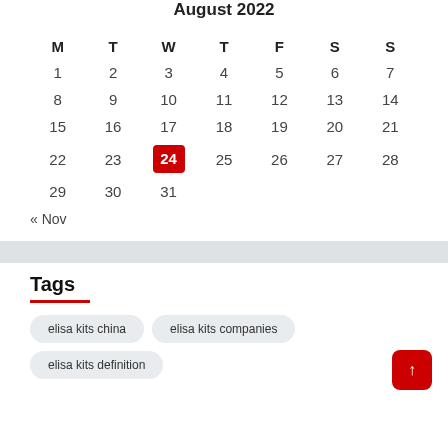August 2022
| M | T | W | T | F | S | S |
| --- | --- | --- | --- | --- | --- | --- |
| 1 | 2 | 3 | 4 | 5 | 6 | 7 |
| 8 | 9 | 10 | 11 | 12 | 13 | 14 |
| 15 | 16 | 17 | 18 | 19 | 20 | 21 |
| 22 | 23 | 24 | 25 | 26 | 27 | 28 |
| 29 | 30 | 31 |  |  |  |  |
« Nov
Tags
elisa kits china
elisa kits companies
elisa kits definition